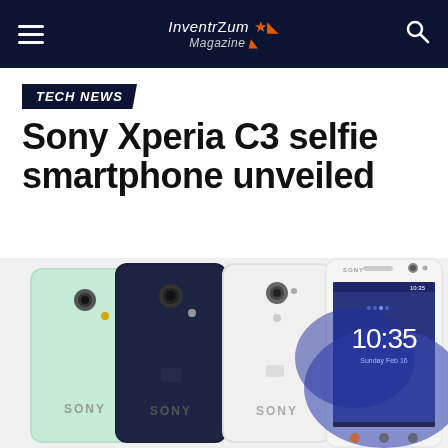InventrZum Magazine
TECH NEWS
Sony Xperia C3 selfie smartphone unveiled
[Figure (photo): Four Sony Xperia C3 smartphones shown from the back and front: mint green, dark navy, white (back views), and white (front view showing lock screen with time 10:35, Sunday Feb 16)]